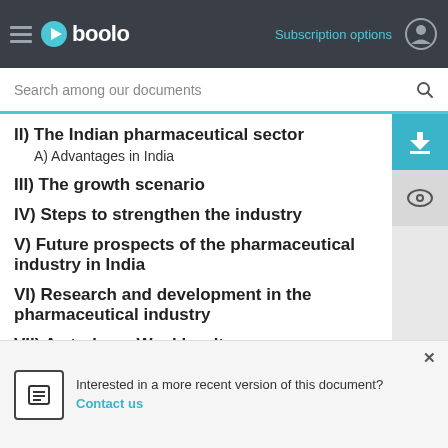Gboolo — Subscription options
Search among our documents
II) The Indian pharmaceutical sector
A) Advantages in India
III) The growth scenario
IV) Steps to strengthen the industry
V) Future prospects of the pharmaceutical industry in India
VI) Research and development in the pharmaceutical industry
VII) A study on Wockhardt
A) Mission a…
B) Wockhard…
C) Marketing…
Interested in a more recent version of this document? Contact us